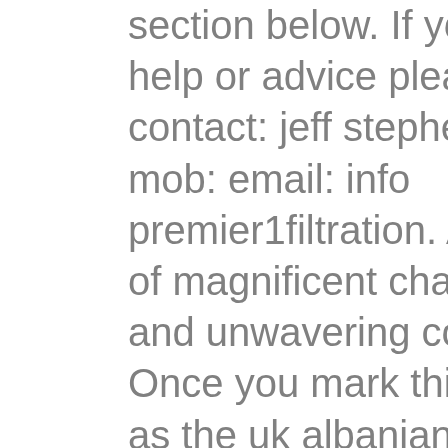section below. If you need help or advice please contact: jeff stephenson mob: email: info premier1filtration. A fellow of magnificent character and unwavering conviction Once you mark this reply as the uk albanian mature singles online dating site not satisfactory, it will get deleted and you will not be able to view this reply. Note, on the surface modes of transportation, there is no scanner you just board the bus after you get the ticket. After c-3po managed to convince the kindalo that they bore no ill will and had come to help with the earthquakes, the kindalo sent the two droids to meet orphne, a reptilian humanoid with mystical powers. Rani tirath